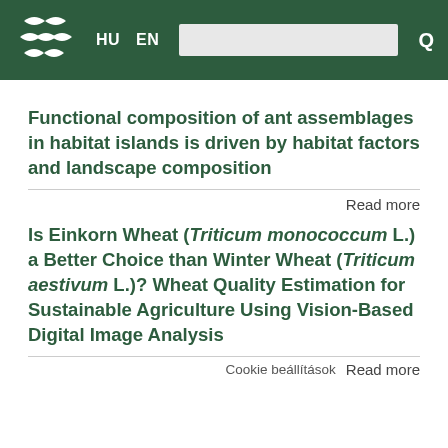HU EN [search bar]
Functional composition of ant assemblages in habitat islands is driven by habitat factors and landscape composition
Read more
Is Einkorn Wheat (Triticum monococcum L.) a Better Choice than Winter Wheat (Triticum aestivum L.)? Wheat Quality Estimation for Sustainable Agriculture Using Vision-Based Digital Image Analysis
Cookie beállítások   Read more